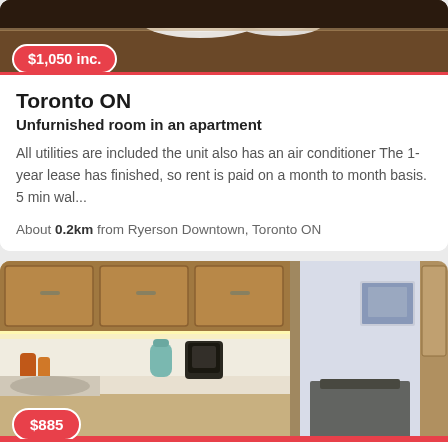[Figure (photo): Top portion of a kitchen/room photo showing dishes, counters, dark wood - partially cropped at top of page]
$1,050 inc.
Toronto ON
Unfurnished room in an apartment
All utilities are included the unit also has an air conditioner The 1-year lease has finished, so rent is paid on a month to month basis. 5 min wal...
About 0.2km from Ryerson Downtown, Toronto ON
[Figure (photo): Kitchen and dining area photo showing wood cabinets, countertop with coffee maker and kettle, sink, and a glimpse of a dining area with chair]
$885
Gerrard Street East, Toronto ON